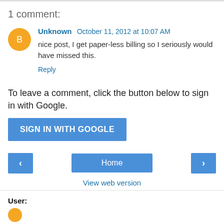1 comment:
Unknown  October 11, 2012 at 10:07 AM
nice post, I get paper-less billing so I seriously would have missed this.
Reply
To leave a comment, click the button below to sign in with Google.
SIGN IN WITH GOOGLE
Home
View web version
User: